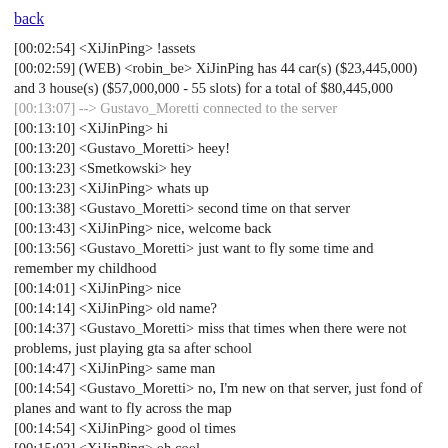back
[00:02:54] <XiJinPing> !assets
[00:02:59] (WEB) <robin_be> XiJinPing has 44 car(s) ($23,445,000) and 3 house(s) ($57,000,000 - 55 slots) for a total of $80,445,000
[00:13:07] --> Gustavo_Moretti connected to the server
[00:13:10] <XiJinPing> hi
[00:13:20] <Gustavo_Moretti> heey!
[00:13:23] <Smetkowski> hey
[00:13:23] <XiJinPing> whats up
[00:13:38] <Gustavo_Moretti> second time on that server
[00:13:43] <XiJinPing> nice, welcome back
[00:13:56] <Gustavo_Moretti> just want to fly some time and remember my childhood
[00:14:01] <XiJinPing> nice
[00:14:14] <XiJinPing> old name?
[00:14:37] <Gustavo_Moretti> miss that times when there were not problems, just playing gta sa after school
[00:14:47] <XiJinPing> same man
[00:14:54] <Gustavo_Moretti> no, I'm new on that server, just fond of planes and want to fly across the map
[00:14:54] <XiJinPing> good ol times
[00:15:02] <XiJinPing> oh cool
[00:15:15] <Smetkowski> you came to the right place :D